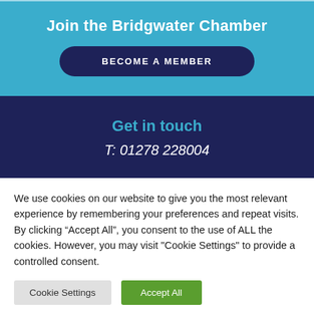Join the Bridgwater Chamber
Become a member
Get in touch
T: 01278 228004
We use cookies on our website to give you the most relevant experience by remembering your preferences and repeat visits. By clicking “Accept All”, you consent to the use of ALL the cookies. However, you may visit "Cookie Settings" to provide a controlled consent.
Cookie Settings
Accept All